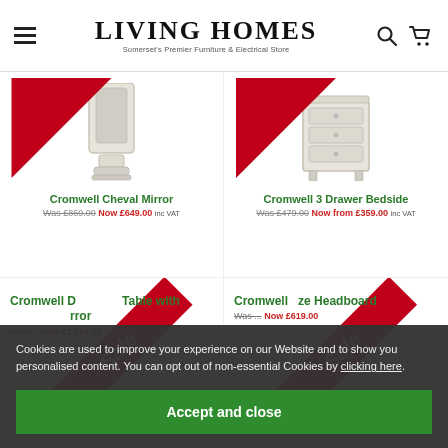LIVING HOMES — Somerset's Premier Furniture & Electrical Store
Cromwell Cheval Mirror
Was £869.00 Now £649.00 inc VAT
Cromwell 3 Drawer Bedside
Was £479.00 Now from £359.00 inc VAT
Cromwell Dressing Table with Mirror
Was ... Now £1,269.00
Cromwell King Size Headboard
Was ... Now £619.00
Cookies are used to improve your experience on our Website and to show you personalised content. You can opt out of non-essential Cookies by clicking here.
Accept and close